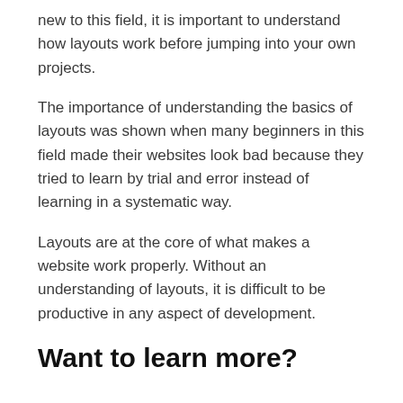new to this field, it is important to understand how layouts work before jumping into your own projects.
The importance of understanding the basics of layouts was shown when many beginners in this field made their websites look bad because they tried to learn by trial and error instead of learning in a systematic way.
Layouts are at the core of what makes a website work properly. Without an understanding of layouts, it is difficult to be productive in any aspect of development.
Want to learn more?